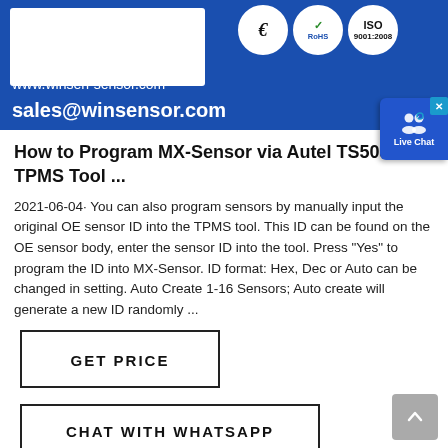[Figure (other): Blue header banner with white logo box, CE, RoHS, ISO 9001:2008 certification circles, website URL and email address, and a Live Chat bubble in the top right corner]
How to Program MX-Sensor via Autel TS508 TPMS Tool ...
2021-06-04· You can also program sensors by manually input the original OE sensor ID into the TPMS tool. This ID can be found on the OE sensor body, enter the sensor ID into the tool. Press "Yes" to program the ID into MX-Sensor. ID format: Hex, Dec or Auto can be changed in setting. Auto Create 1-16 Sensors; Auto create will generate a new ID randomly ...
GET PRICE
CHAT WITH WHATSAPP